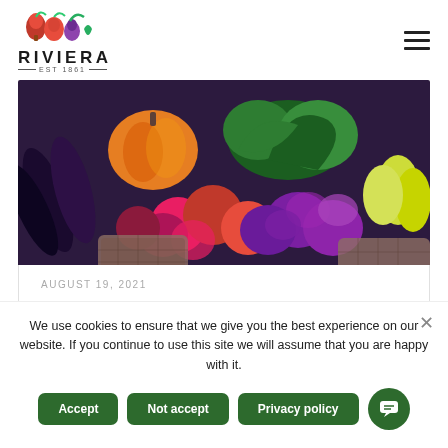[Figure (logo): Riviera produce company logo with fruit icons and EST. 1861 text]
[Figure (photo): Colorful assortment of fresh produce including eggplants, apples, purple cabbages, green vegetables, and yellow peppers in baskets at a market]
AUGUST 19, 2021
How to Store Produce for Peak Freshness
We use cookies to ensure that we give you the best experience on our website. If you continue to use this site we will assume that you are happy with it.
Accept
Not accept
Privacy policy